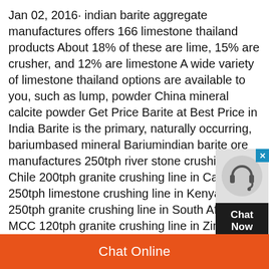Jan 02, 2016· indian barite aggregate manufactures offers 166 limestone thailand products About 18% of these are lime, 15% are crusher, and 12% are limestone A wide variety of limestone thailand options are available to you, such as lump, powder China mineral calcite powder Get Price Barite at Best Price in India Barite is the primary, naturally occurring, bariumbased mineral Bariumindian barite ore manufactures 250tph river stone crushing lin Chile 200tph granite crushing line in Cameroon 250tph limestone crushing line in Kenya 250tph granite crushing line in South Africa MCC 120tph granite crushing line in Zimbabwe 400tph crushing plant in Guinea Chat Online [protected] Based on many years of market experiences and R & D experiences, HGT gyratoryindian barite ore manufactures ProductsYou can also choose from barite powder, barite lump, and barite ore There are 374 api barite suppliers, mainly located in Asia The top supplying
[Figure (other): Live chat widget with headset icon and 'Chat Now' label on dark background with blue close button]
Chat Online